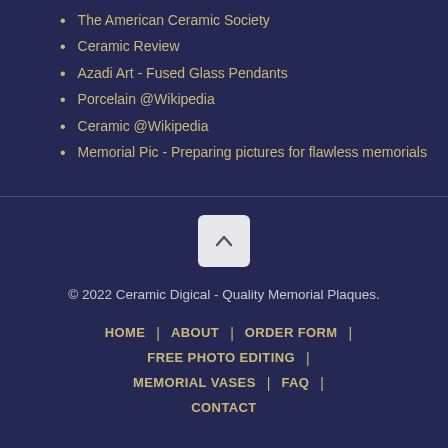The American Ceramic Society
Ceramic Review
Azadi Art - Fused Glass Pendants
Porcelain @Wikipedia
Ceramic @Wikipedia
Memorial Pic - Preparing pictures for flawless memorials
[Figure (other): Scroll to top button with upward chevron arrow icon]
© 2022 Ceramic Digical - Quality Memorial Plaques.
HOME | ABOUT | ORDER FORM | FREE PHOTO EDITING | MEMORIAL VASES | FAQ | CONTACT